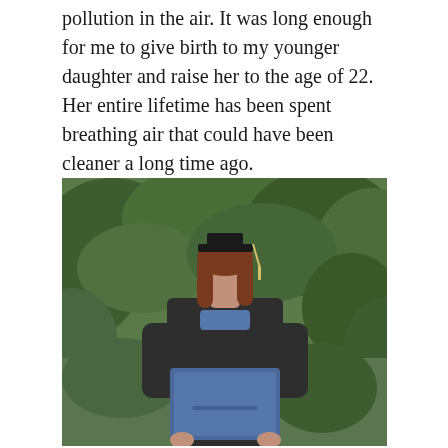pollution in the air. It was long enough for me to give birth to my younger daughter and raise her to the age of 22. Her entire lifetime has been spent breathing air that could have been cleaner a long time ago.
[Figure (photo): A young woman in graduation cap and gown holding a blue diploma cover, standing outdoors in front of green trees and foliage.]